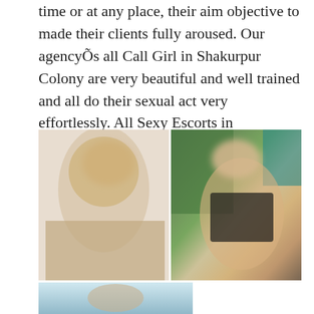time or at any place, their aim objective to made their clients fully aroused. Our agencyÕs all Call Girl in Shakurpur Colony are very beautiful and well trained and all do their sexual act very effortlessly. All Sexy Escorts in Shakurpur Colony are relate from well and High Profile society.
[Figure (photo): Two side-by-side photos of women with blurred faces. Left photo shows a blonde woman in light clothing seated on a sofa. Right photo shows a woman in a floral top seated outdoors with greenery in the background.]
[Figure (photo): Partial photo at the bottom of the page showing a person, cropped.]